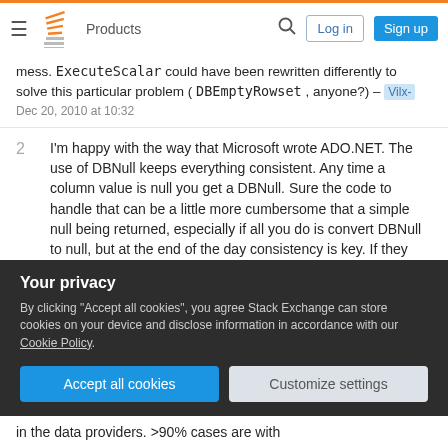Stack Overflow navigation bar with hamburger menu, logo, Products link, search icon, Log in button, Sign up button
mess. ExecuteScalar could have been rewritten differently to solve this particular problem ( DBEmptyRowset , anyone?) – Vilx- Dec 20, 2010 at 10:32
2 I'm happy with the way that Microsoft wrote ADO.NET. The use of DBNull keeps everything consistent. Any time a column value is null you get a DBNull. Sure the code to handle that can be a little more cumbersome that a simple null being returned, especially if all you do is convert DBNull to null, but at the end of the day consistency is key. If they had varied ExecuteScalar because you need to tell the difference in that scenario then it would have jarred a lot more. Of course, this is
Your privacy
By clicking "Accept all cookies", you agree Stack Exchange can store cookies on your device and disclose information in accordance with our Cookie Policy.
Accept all cookies
Customize settings
in the data providers. >90% cases are with